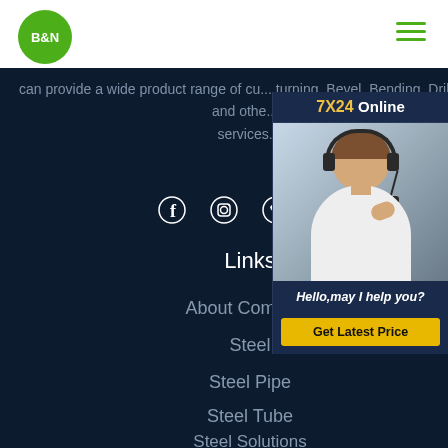[Figure (logo): B&N logo — white text on green circle]
[Figure (illustration): Hamburger menu icon (3 green lines)]
can provide a wide product range of cu... turning, Bevel, Bending, Drilling and othe... services.
[Figure (illustration): Social media icons: Facebook, Instagram, Twitter, Skype]
Links
About Company
Steel
Steel Pipe
Steel Tube
Steel Solutions
[Figure (infographic): 7X24 Online chat widget with customer service representative photo, 'Hello, may I help you?' message and 'Get Latest Price' button]